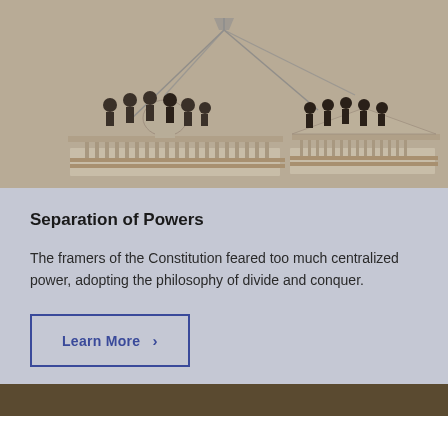[Figure (illustration): Historical illustration showing a balance scale with the US Capitol building and group of legislators on the left pan, and the Supreme Court building with justices on the right pan, depicting separation of powers concept. Sepia/vintage style.]
Separation of Powers
The framers of the Constitution feared too much centralized power, adopting the philosophy of divide and conquer.
Learn More >